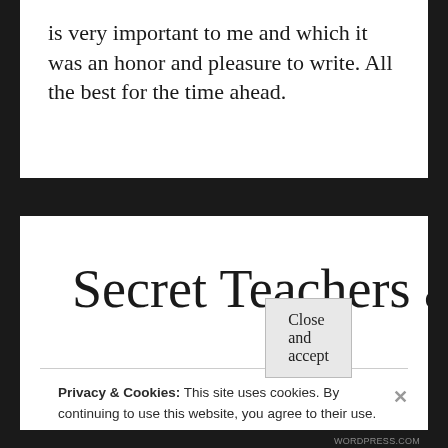is very important to me and which it was an honor and pleasure to write. All the best for the time ahead.
Secret Teachers at
Privacy & Cookies: This site uses cookies. By continuing to use this website, you agree to their use.
To find out more, including how to control cookies, see here: Cookie Policy
Close and accept